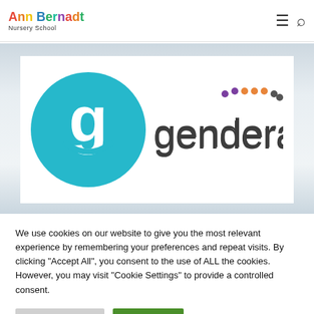Ann Bernadt Nursery School
[Figure (logo): Gender Action logo: teal circle with lowercase 'g' and smile, followed by the text 'genderaction' in dark gray with colorful dots above the letters 'tio']
We use cookies on our website to give you the most relevant experience by remembering your preferences and repeat visits. By clicking "Accept All", you consent to the use of ALL the cookies. However, you may visit "Cookie Settings" to provide a controlled consent.
Cookie Settings | Accept All